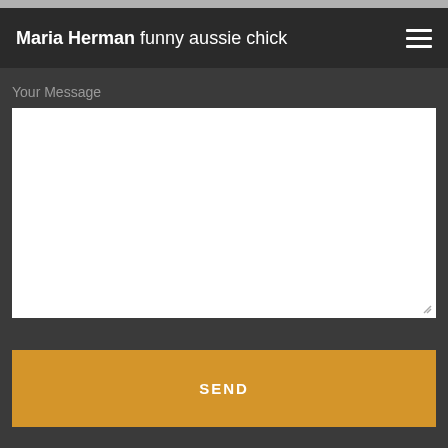Maria Herman funny aussie chick
Your Message
[Figure (screenshot): Empty white message textarea input field with resize handle at bottom right]
SEND